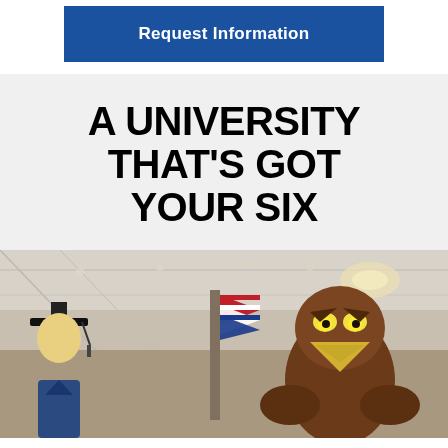Request Information
A UNIVERSITY THAT'S GOT YOUR SIX
[Figure (photo): A graduation scene inside a banquet hall — a student in a graduation cap on the left and a hawk mascot costume character on the right, with an American flag visible in the background and a chandelier overhead.]